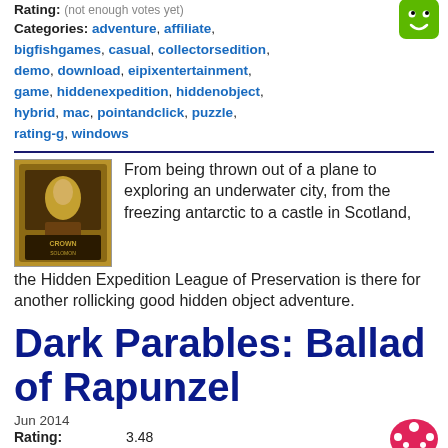Rating: (not enough votes yet)
Categories: adventure, affiliate, bigfishgames, casual, collectorsedition, demo, download, eipixentertainment, game, hiddenexpedition, hiddenobject, hybrid, mac, pointandclick, puzzle, rating-g, windows
[Figure (illustration): Green smiley face emoji icon]
[Figure (photo): Thumbnail of Crown of Solomon game cover art]
From being thrown out of a plane to exploring an underwater city, from the freezing antarctic to a castle in Scotland, the Hidden Expedition League of Preservation is there for another rollicking good hidden object adventure.
Dark Parables: Ballad of Rapunzel
Jun 2014
Rating: 3.48
[Figure (illustration): Pink mushroom emoji icon]
Categories: adventure, affiliate, blueteagames, casual, collectorsedition, darkparables, demo, download, fantasy, game, hiddenobject, hybrid, mac, pointandclick, puzzle, rating-y, windows
[Figure (illustration): Green smiley face emoji icon (bottom)]